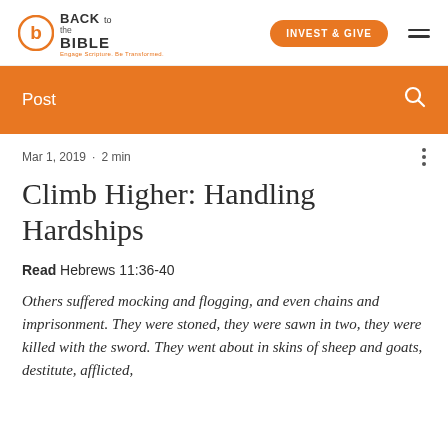BACK to the BIBLE | INVEST & GIVE | Engage Scripture. Be Transformed.
Post
Mar 1, 2019 · 2 min
Climb Higher: Handling Hardships
Read Hebrews 11:36-40
Others suffered mocking and flogging, and even chains and imprisonment. They were stoned, they were sawn in two, they were killed with the sword. They went about in skins of sheep and goats, destitute, afflicted,